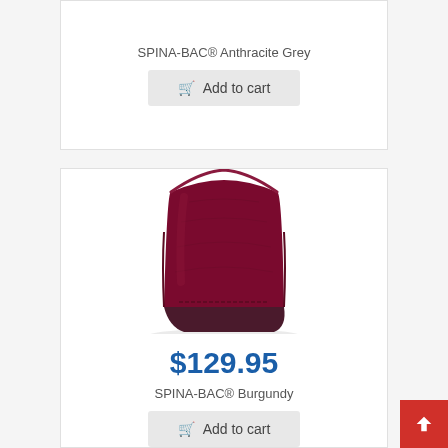SPINA-BAC® Anthracite Grey
Add to cart
[Figure (photo): Burgundy SPINA-BAC lumbar support cushion with dark base, angled view showing fabric texture]
$129.95
SPINA-BAC® Burgundy
Add to cart